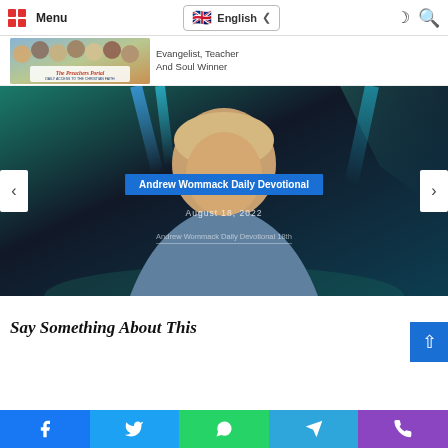Menu | The Preachers Portal | English language selector | dark mode icon | search icon
[Figure (screenshot): Andrew Wommack Daily Devotional hero image showing a man in a grey shirt against a dark teal/blue stage background with light beams. Overlay text: 'Andrew Wommack Daily Devotional', date 'August 18, 2022'. Navigation arrows on left and right.]
Say Something About This
Facebook | Twitter | WhatsApp | Telegram | Phone share buttons